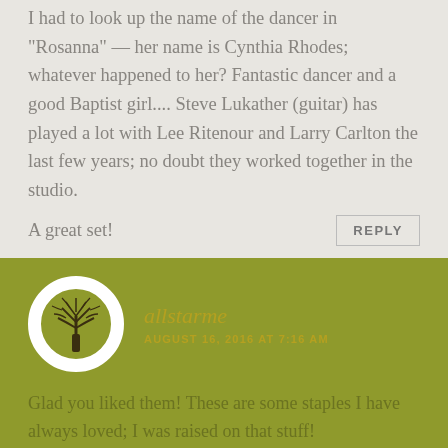I had to look up the name of the dancer in "Rosanna" — her name is Cynthia Rhodes; whatever happened to her? Fantastic dancer and a good Baptist girl.... Steve Lukather (guitar) has played a lot with Lee Ritenour and Larry Carlton the last few years; no doubt they worked together in the studio.
A great set!
REPLY
[Figure (illustration): User avatar showing a tree silhouette inside a white circle, displayed on an olive/yellow-green background comment block]
allstarme
AUGUST 16, 2016 AT 7:16 AM
Glad you liked them! These are some staples I have always loved; I was raised on that stuff!
REPLY